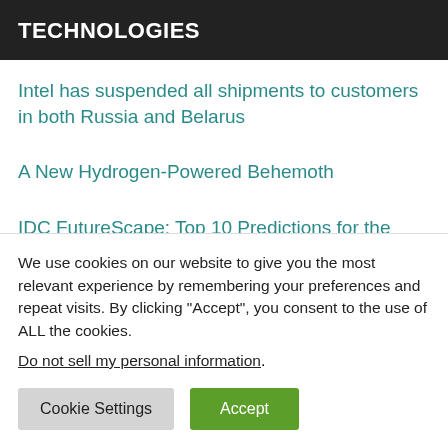TECHNOLOGIES
Intel has suspended all shipments to customers in both Russia and Belarus
A New Hydrogen-Powered Behemoth
IDC FutureScape: Top 10 Predictions for the Future of Intelligence
We use cookies on our website to give you the most relevant experience by remembering your preferences and repeat visits. By clicking “Accept”, you consent to the use of ALL the cookies.
Do not sell my personal information.